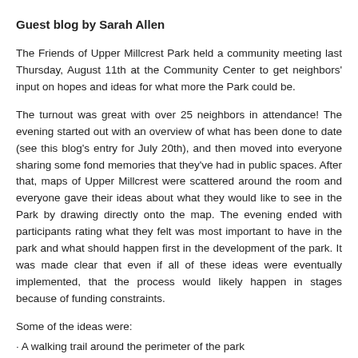Guest blog by Sarah Allen
The Friends of Upper Millcrest Park held a community meeting last Thursday, August 11th at the Community Center to get neighbors' input on hopes and ideas for what more the Park could be.
The turnout was great with over 25 neighbors in attendance! The evening started out with an overview of what has been done to date (see this blog's entry for July 20th), and then moved into everyone sharing some fond memories that they've had in public spaces. After that, maps of Upper Millcrest were scattered around the room and everyone gave their ideas about what they would like to see in the Park by drawing directly onto the map. The evening ended with participants rating what they felt was most important to have in the park and what should happen first in the development of the park. It was made clear that even if all of these ideas were eventually implemented, that the process would likely happen in stages because of funding constraints.
Some of the ideas were:
· A walking trail around the perimeter of the park
· Play areas for both toddlers and older children